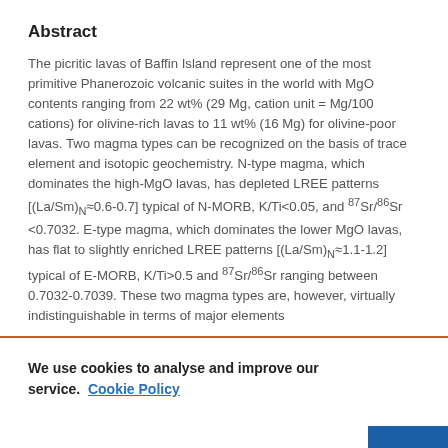Abstract
The picritic lavas of Baffin Island represent one of the most primitive Phanerozoic volcanic suites in the world with MgO contents ranging from 22 wt% (29 Mg, cation unit = Mg/100 cations) for olivine-rich lavas to 11 wt% (16 Mg) for olivine-poor lavas. Two magma types can be recognized on the basis of trace element and isotopic geochemistry. N-type magma, which dominates the high-MgO lavas, has depleted LREE patterns [(La/Sm)N≈0.6-0.7] typical of N-MORB, K/Ti<0.05, and 87Sr/86Sr <0.7032. E-type magma, which dominates the lower MgO lavas, has flat to slightly enriched LREE patterns [(La/Sm)N≈1.1-1.2] typical of E-MORB, K/Ti>0.5 and 87Sr/86Sr ranging between 0.7032-0.7039. These two magma types are, however, virtually indistinguishable in terms of major elements
We use cookies to analyse and improve our service. Cookie Policy